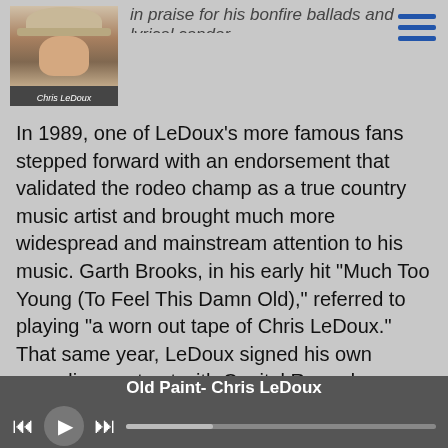in praise for his bonfire ballads and lyrical candor.
[Figure (photo): Profile photo of Chris LeDoux wearing a cowboy hat, with 'Chris LeDoux' label at bottom]
In 1989, one of LeDoux's more famous fans stepped forward with an endorsement that validated the rodeo champ as a true country music artist and brought much more widespread and mainstream attention to his music. Garth Brooks, in his early hit "Much Too Young (To Feel This Damn Old)," referred to playing "a worn out tape of Chris LeDoux." That same year, LeDoux signed his own recording contract with Capitol Records Nashville.
With sales of his 36 albums now totaling more than six million units in the U.S., one platinum and two gold album certifications from the RIAA, a Grammy nomination and the Academy of Country Music Pioneer Award, LeDoux's
Old Paint- Chris LeDoux